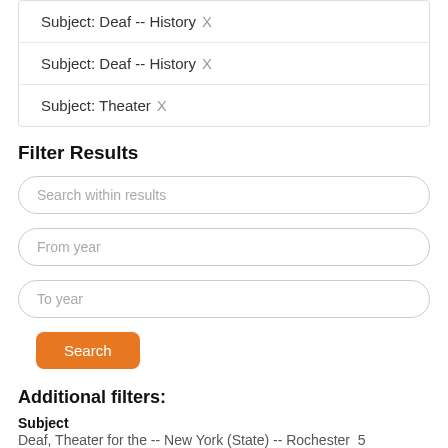Subject: Deaf -- History X
Subject: Deaf -- History X
Subject: Theater X
Filter Results
Search within results
From year
To year
Search
Additional filters:
Subject
Deaf, Theater for the -- New York (State) -- Rochester  5